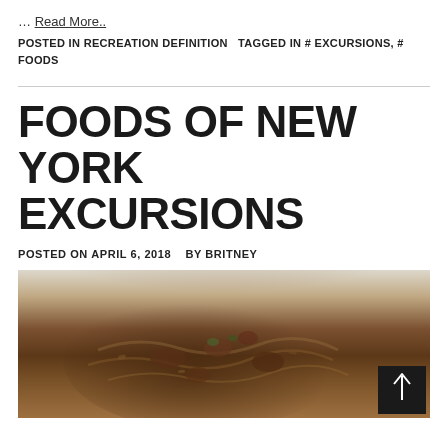… Read More..
POSTED IN RECREATION DEFINITION   TAGGED IN # EXCURSIONS, # FOODS
FOODS OF NEW YORK EXCURSIONS
POSTED ON APRIL 6, 2018   BY BRITNEY
[Figure (photo): Close-up photo of a bowl of food, appears to be a pasta or noodle dish with meat sauce, garnished with herbs, on a white plate/bowl. Dark background.]